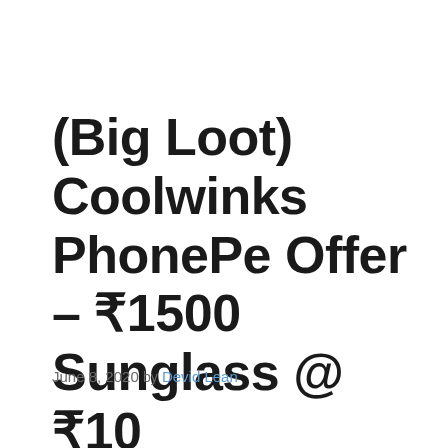(Big Loot) Coolwinks PhonePe Offer – ₹1500 Sunglass @ ₹10
June 8, 2020 by Devid Lean